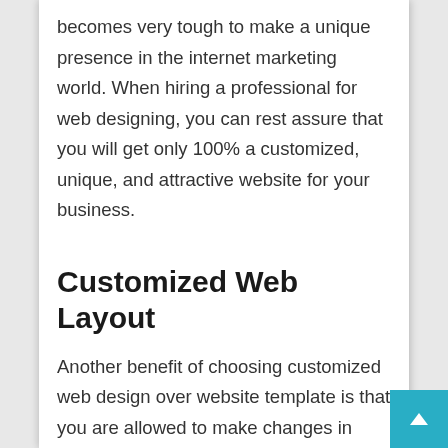becomes very tough to make a unique presence in the internet marketing world. When hiring a professional for web designing, you can rest assure that you will get only 100% a customized, unique, and attractive website for your business.
Customized Web Layout
Another benefit of choosing customized web design over website template is that you are allowed to make changes in your website be it related to images, texts, colour, and layouts according to the way your want. On the other hands, website